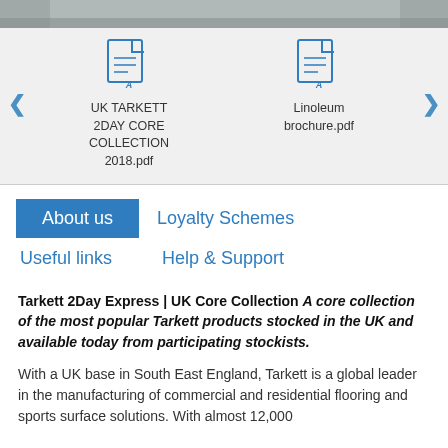[Figure (photo): Top portion of a photo showing furniture/flooring, partially cropped]
[Figure (screenshot): Carousel showing two PDF document icons: 'UK TARKETT 2DAY CORE COLLECTION 2018.pdf' and 'Linoleum brochure.pdf' with left/right navigation arrows]
About us
Loyalty Schemes
Useful links
Help & Support
Tarkett 2Day Express | UK Core Collection A core collection of the most popular Tarkett products stocked in the UK and available today from participating stockists.
With a UK base in South East England, Tarkett is a global leader in the manufacturing of commercial and residential flooring and sports surface solutions. With almost 12,000